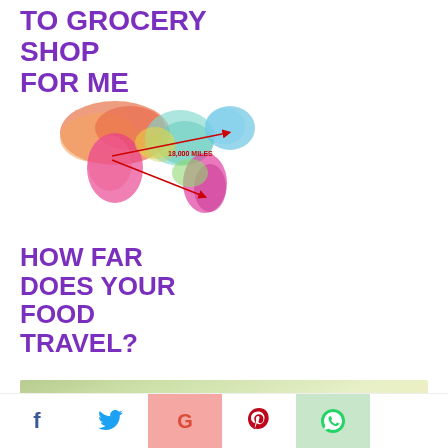TO GROCERY SHOP FOR ME
[Figure (map): Colorful watercolor world map with red arrows showing food travel distances, labeled '18,000 MILES']
HOW FAR DOES YOUR FOOD TRAVEL?
[Figure (photo): Blurred outdoor photo with green and yellow bokeh background, partially visible dark object at bottom]
[Figure (infographic): Social share bar with Facebook (f), Twitter (bird), Google (G), Pinterest (P), and WhatsApp icons]